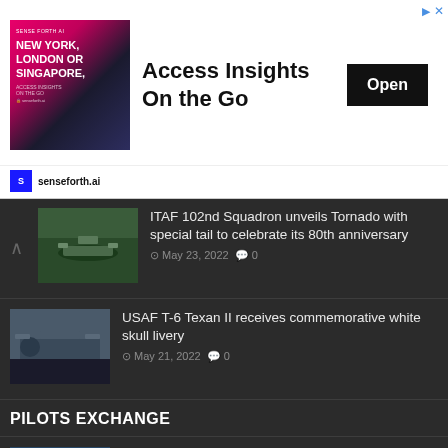[Figure (other): Advertisement banner for senseforth.ai — 'Access Insights On the Go' with Open button, showing a man presenting with cities NEW YORK, LONDON OR SINGAPORE listed]
ITAF 102nd Squadron unveils Tornado with special tail to celebrate its 80th anniversary — May 23, 2022  0
USAF T-6 Texan II receives commemorative white skull livery — May 21, 2022  0
PILOTS EXCHANGE
That is why three former USAF F-16 pilots asked to fly F-35 — October 08, 2021  0
French Air Force fighter pilot flies RAF Typhoon — August 19, 2020  0